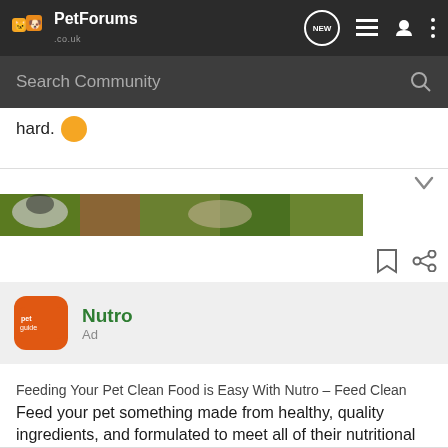PetForums .co.uk
Search Community
hard.
[Figure (photo): Partial view of animals (dogs/cats) in a grass field, used as forum post image]
[Figure (logo): Petguide orange logo icon for Nutro ad]
Nutro
Ad
Feeding Your Pet Clean Food is Easy With Nutro – Feed Clean
Feed your pet something made from healthy, quality ingredients, and formulated to meet all of their nutritional needs